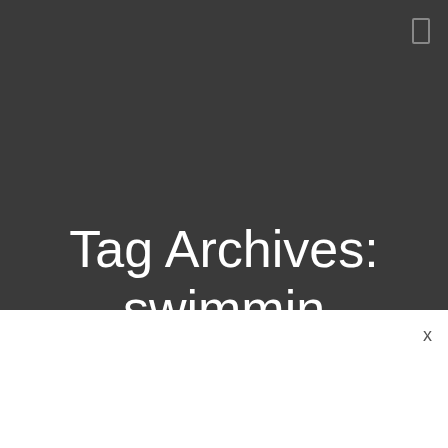Tag Archives: swimming pool activities
[Figure (screenshot): White modal/overlay panel at bottom of screen with close X button]
X